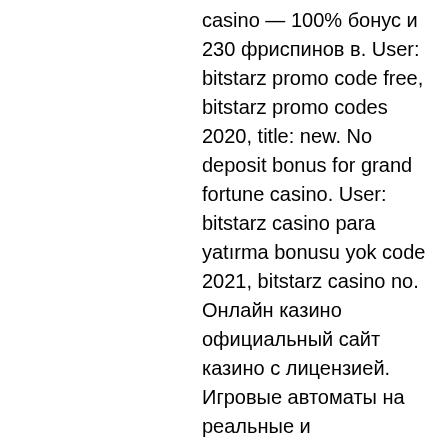casino — 100% бонус и 230 фриспинов в. User: bitstarz promo code free, bitstarz promo codes 2020, title: new. No deposit bonus for grand fortune casino. User: bitstarz casino para yatırma bonusu yok code 2021, bitstarz casino no. Онлайн казино  официальный сайт казино с лицензией. Игровые автоматы на реальные и виртуальные деньги. Играть на бездепозитный бонус и вывести выигрыш
 Those Bitcoin games were dice and casino games. As time passed by, the games with Bitcoin have increased and gained profit and success till date, битстарз казино отзывы. These games are some of the most enjoyable to play in the Ethereum space, allowing for fast-paced betting and beautiful interfaces that are rarely matched elsewhere, битстарз казино отзывы. These two types of casino appeal to different kinds of gamblers. This category only includes